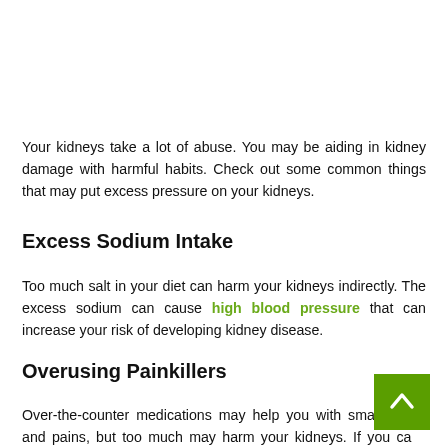Your kidneys take a lot of abuse. You may be aiding in kidney damage with harmful habits. Check out some common things that may put excess pressure on your kidneys.
Excess Sodium Intake
Too much salt in your diet can harm your kidneys indirectly. The excess sodium can cause high blood pressure that can increase your risk of developing kidney disease.
Overusing Painkillers
Over-the-counter medications may help you with small aches and pains, but too much may harm your kidneys. If you can't avoid using nonsteroidal anti-inflammatory drugs (NSAIDS)